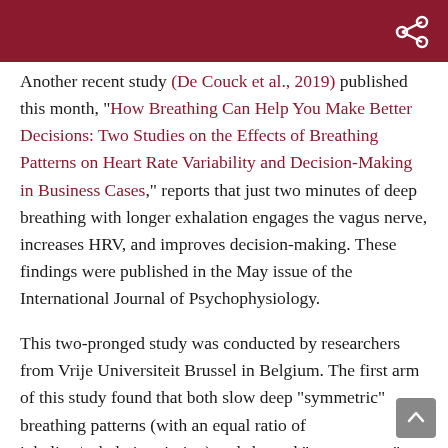Another recent study (De Couck et al., 2019) published this month, “How Breathing Can Help You Make Better Decisions: Two Studies on the Effects of Breathing Patterns on Heart Rate Variability and Decision-Making in Business Cases,” reports that just two minutes of deep breathing with longer exhalation engages the vagus nerve, increases HRV, and improves decision-making. These findings were published in the May issue of the International Journal of Psychophysiology.
This two-pronged study was conducted by researchers from Vrije Universiteit Brussel in Belgium. The first arm of this study found that both slow deep “symmetric” breathing patterns (with an equal ratio of inhaling/exhalation timing) and skewed “vagus nerve” breathing patterns (with a longer exhalation than...